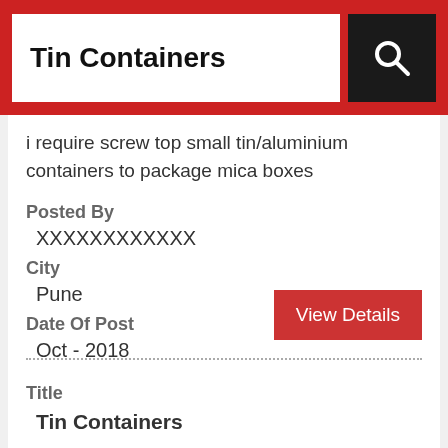Tin Containers
i require screw top small tin/aluminium containers to package mica boxes
Posted By
XXXXXXXXXXXX
City
Pune
Date Of Post
Oct - 2018
Title
Tin Containers